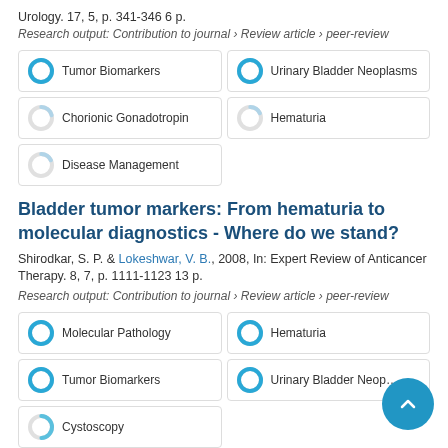Urology. 17, 5, p. 341-346 6 p.
Research output: Contribution to journal › Review article › peer-review
Tumor Biomarkers
Urinary Bladder Neoplasms
Chorionic Gonadotropin
Hematuria
Disease Management
Bladder tumor markers: From hematuria to molecular diagnostics - Where do we stand?
Shirodkar, S. P. & Lokeshwar, V. B., 2008, In: Expert Review of Anticancer Therapy. 8, 7, p. 1111-1123 13 p.
Research output: Contribution to journal › Review article › peer-review
Molecular Pathology
Hematuria
Tumor Biomarkers
Urinary Bladder Neoplasms
Cystoscopy